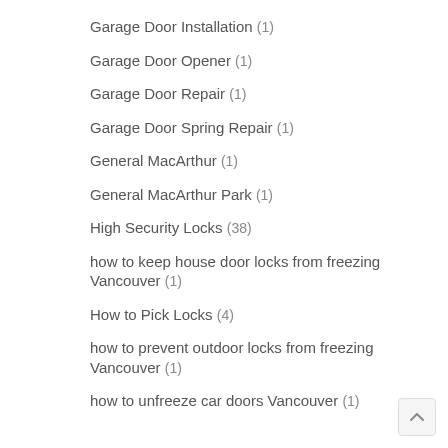Garage Door Installation (1)
Garage Door Opener (1)
Garage Door Repair (1)
Garage Door Spring Repair (1)
General MacArthur (1)
General MacArthur Park (1)
High Security Locks (38)
how to keep house door locks from freezing Vancouver (1)
How to Pick Locks (4)
how to prevent outdoor locks from freezing Vancouver (1)
how to unfreeze car doors Vancouver (1)